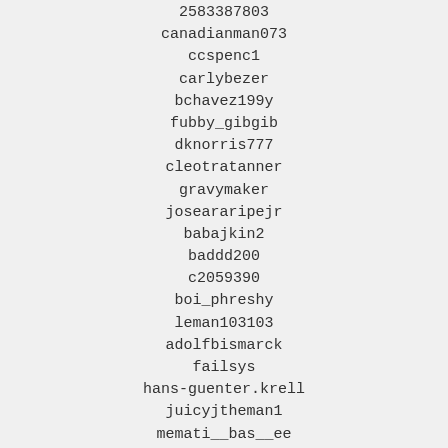2583387803
canadianman073
ccspenc1
carlybezer
bchavez199y
fubby_gibgib
dknorris777
cleotratanner
gravymaker
joseararipejr
babajkin2
baddd200
c2059390
boi_phreshy
leman103103
adolfbismarck
failsys
hans-guenter.krell
juicyjtheman1
memati__bas__ee
babygonebad11
janathar
farhana51214
kylo17
quojie8935